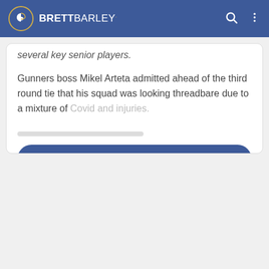BRETT BARLEY
several key senior players.
Gunners boss Mikel Arteta admitted ahead of the third round tie that his squad was looking threadbare due to a mixture of Covid and injuries.
OPEN IN FULL